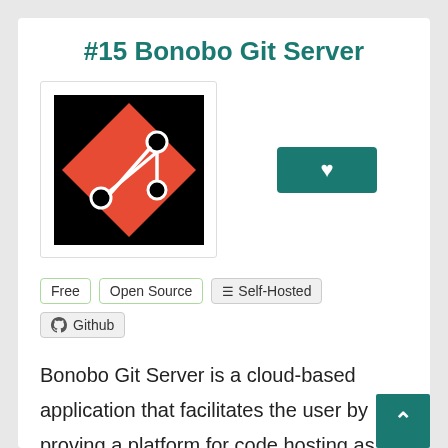#15 Bonobo Git Server
[Figure (logo): Git logo: orange diamond shape with black background and git branching icon in white/black]
Free
Open Source
Self-Hosted
Github
Bonobo Git Server is a cloud-based application that facilitates the user by proving a platform for code hosting as well as for app development. This platform provides a perfect integrated development environment (IDE) fo the developer community allowing them to